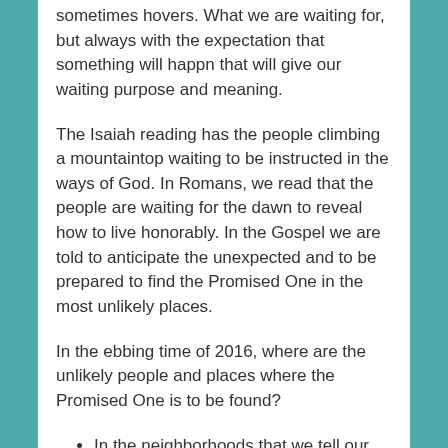sometimes hovers. What we are waiting for, but always with the expectation that something will happn that will give our waiting purpose and meaning.
The Isaiah reading has the people climbing a mountaintop waiting to be instructed in the ways of God. In Romans, we read that the people are waiting for the dawn to reveal how to live honorably. In the Gospel we are told to anticipate the unexpected and to be prepared to find the Promised One in the most unlikely places.
In the ebbing time of 2016, where are the unlikely people and places where the Promised One is to be found?
In the neighborhoods that we tell our children not to go into…